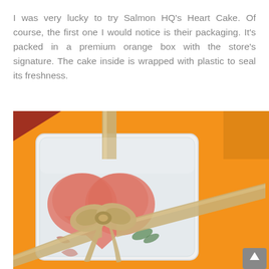I was very lucky to try Salmon HQ's Heart Cake. Of course, the first one I would notice is their packaging. It's packed in a premium orange box with the store's signature. The cake inside is wrapped with plastic to seal its freshness.
[Figure (photo): Photo of Salmon HQ Heart Cake in a white tray inside a plastic wrap, tied with a gold/tan ribbon bow, placed on an orange background box.]